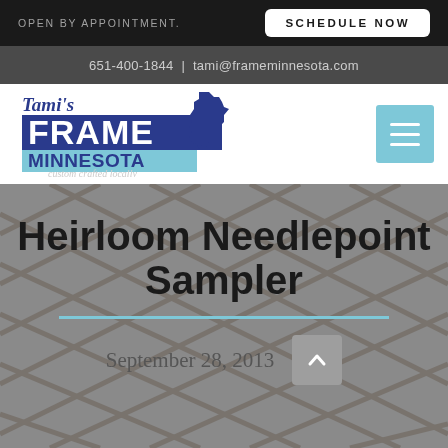OPEN BY APPOINTMENT.
SCHEDULE NOW
651-400-1844 | tami@frameminnesota.com
[Figure (logo): Tami's Frame Minnesota logo with Minnesota state silhouette and tagline 'custom crafted locally']
Heirloom Needlepoint Sampler
September 28, 2013